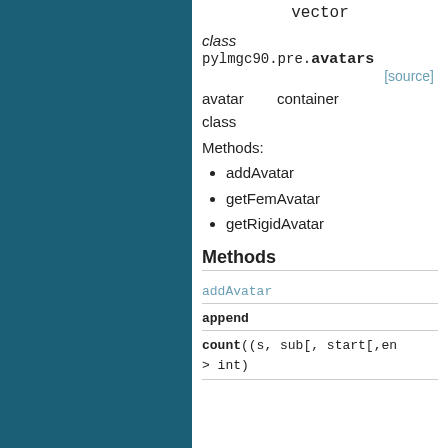vector
class pylmgc90.pre.avatars [source]
avatar container class
Methods:
addAvatar
getFemAvatar
getRigidAvatar
Methods
addAvatar
append
count((s, sub[, start[,end]]) -> int)